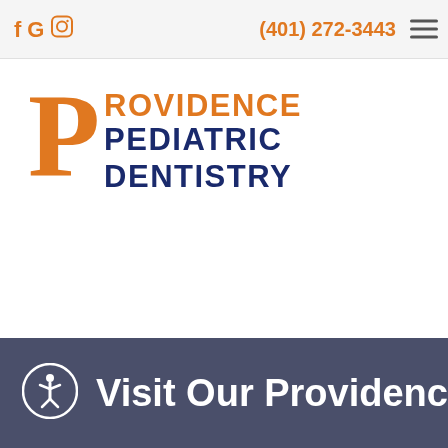fG  (401) 272-3443
[Figure (logo): Providence Pediatric Dentistry logo with large orange P and text]
Visit Our Providence